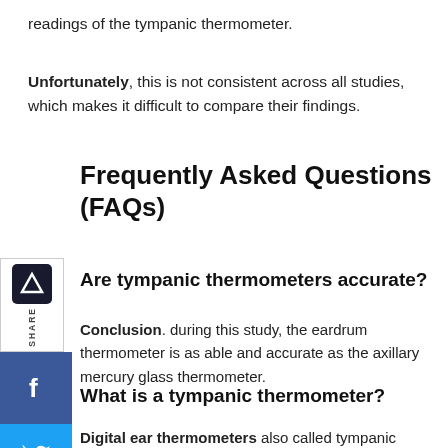readings of the tympanic thermometer.
Unfortunately, this is not consistent across all studies, which makes it difficult to compare their findings.
Frequently Asked Questions (FAQs)
Are tympanic thermometers accurate?
Conclusion. during this study, the eardrum thermometer is as able and accurate as the axillary mercury glass thermometer.
What is a tympanic thermometer?
Digital ear thermometers also called tympanic thermometers, a heat ray to live the temperature inside the auditory meatus.